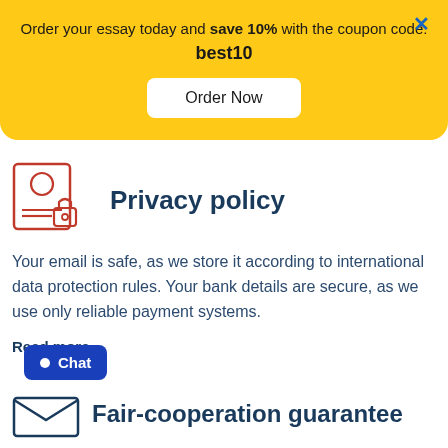Order your essay today and save 10% with the coupon code: best10
[Figure (other): Yellow promotional banner with Order Now button and close X]
[Figure (illustration): Privacy policy icon: person document with lock]
Privacy policy
Your email is safe, as we store it according to international data protection rules. Your bank details are secure, as we use only reliable payment systems.
Read more
[Figure (illustration): Chat button with circle icon]
[Figure (illustration): Fair-cooperation guarantee icon: envelope]
Fair-cooperation guarantee